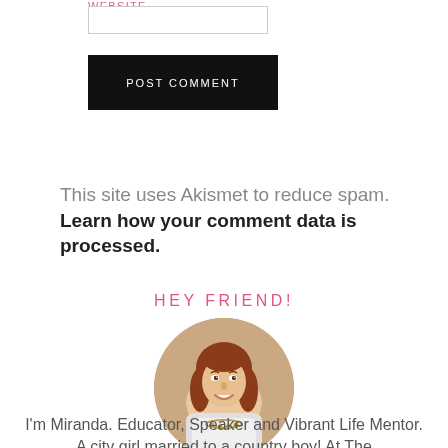WEBSITE. ....
POST COMMENT
This site uses Akismet to reduce spam. Learn how your comment data is processed.
HEY FRIEND!
[Figure (photo): Circular profile photo of Miranda, a woman with auburn hair, smiling, wearing a necklace]
I'm Miranda. Educator, Speaker and Vibrant Life Mentor. A city girl married to a country boy! At The